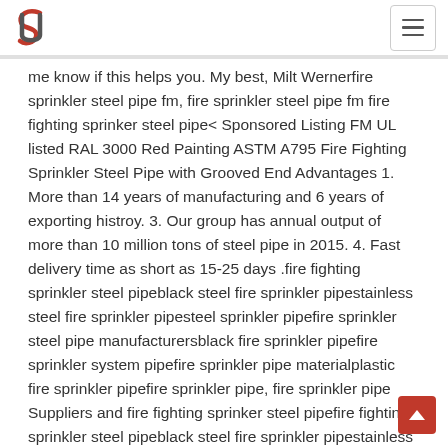me know if this helps you. My best, Milt Wernerfire sprinkler steel pipe fm, fire sprinkler steel pipe fm fire fighting sprinker steel pipe< Sponsored Listing FM UL listed RAL 3000 Red Painting ASTM A795 Fire Fighting Sprinkler Steel Pipe with Grooved End Advantages 1. More than 14 years of manufacturing and 6 years of exporting histroy. 3. Our group has annual output of more than 10 million tons of steel pipe in 2015. 4. Fast delivery time as short as 15-25 days .fire fighting sprinkler steel pipeblack steel fire sprinkler pipestainless steel fire sprinkler pipesteel sprinkler pipefire sprinkler steel pipe manufacturersblack fire sprinkler pipefire sprinkler system pipefire sprinkler pipe materialplastic fire sprinkler pipefire sprinkler pipe, fire sprinkler pipe Suppliers and fire fighting sprinker steel pipefire fighting sprinkler steel pipeblack steel fire sprinkler pipestainless steel fire sprinkler pipesteel sprinkler pipefire sprinkler steel pipe manufacturersblack fire sprinkler